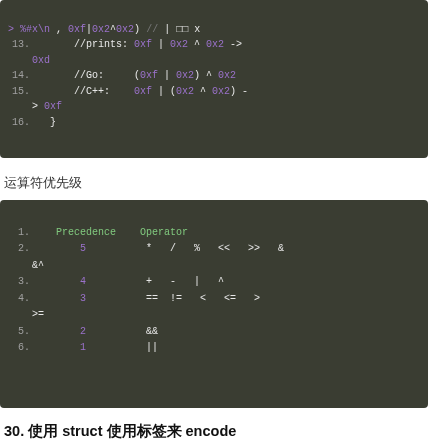[Figure (screenshot): Code block showing Go/C++ bitwise operator precedence example, lines 13-16. Line 13: //prints: 0xf | 0x2 ^ 0x2 -> 0xd. Line 14: //Go: (0xf | 0x2) ^ 0x2. Line 15: //C++: 0xf | (0x2 ^ 0x2) -> 0xf. Line 16: }]
运算符优先级
[Figure (screenshot): Code block showing operator precedence table: 1. Precedence Operator. 2. 5 * / % << >> & &^. 3. 4 + - | ^. 4. 3 == != < <= > >=. 5. 2 &&. 6. 1 ||]
30. 使用 struct 标签来 encode